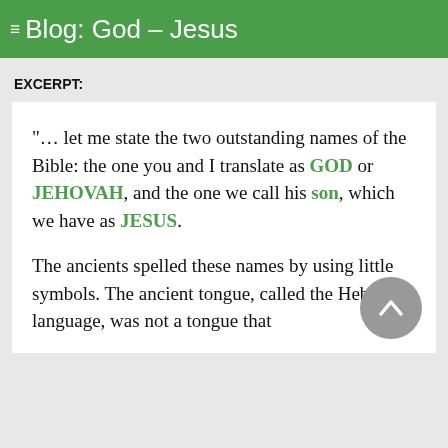Blog: God – Jesus
EXCERPT:
"… let me state the two outstanding names of the Bible: the one you and I translate as GOD or JEHOVAH, and the one we call his son, which we have as JESUS.
The ancients spelled these names by using little symbols. The ancient tongue, called the Hebraic language, was not a tongue that